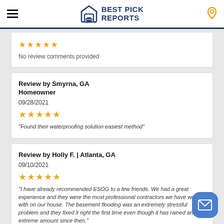Best Pick Reports
No review comments provided
Review by Smyrna, GA Homeowner
09/28/2021
★★★★★
"Found their waterproofing solution easiest method"
Review by Holly F. | Atlanta, GA
09/10/2021
★★★★★
"I have already recommended ESOG to a few friends. We had a great experience and they were the most professional contractors we have worked with on our house. The basement flooding was an extremely stressful problem and they fixed it right the first time even though it has rained an extreme amount since then."